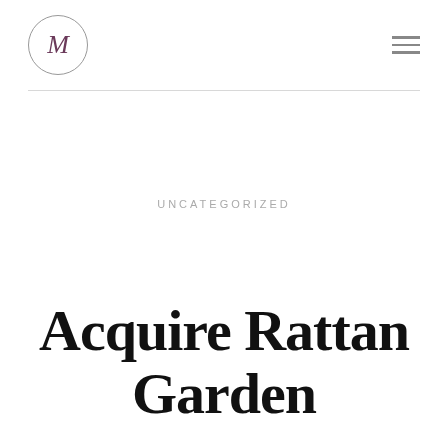M
UNCATEGORIZED
Acquire Rattan Garden